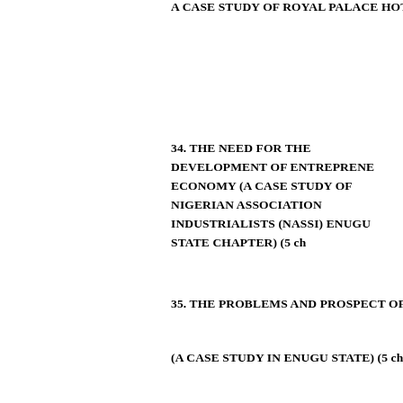A CASE STUDY OF ROYAL PALACE HOTEL ENUGU(5 ch...
34. THE NEED FOR THE DEVELOPMENT OF ENTREPRENE... ECONOMY (A CASE STUDY OF NIGERIAN ASSOCIATION ... INDUSTRIALISTS (NASSI) ENUGU STATE CHAPTER) (5 ch...
35. THE PROBLEMS AND PROSPECT OF VALUE ADDED TA...
(A CASE STUDY IN ENUGU STATE) (5 chapters and 58 pages)